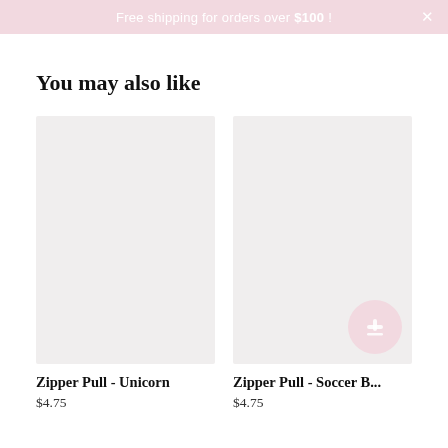Free shipping for orders over $100 !
You may also like
[Figure (photo): Product image placeholder for Zipper Pull - Unicorn (light grey rectangle)]
Zipper Pull - Unicorn
$4.75
[Figure (photo): Product image placeholder for Zipper Pull - Soccer (light grey rectangle) with pink loyalty badge]
Zipper Pull - Soccer B…
$4.75